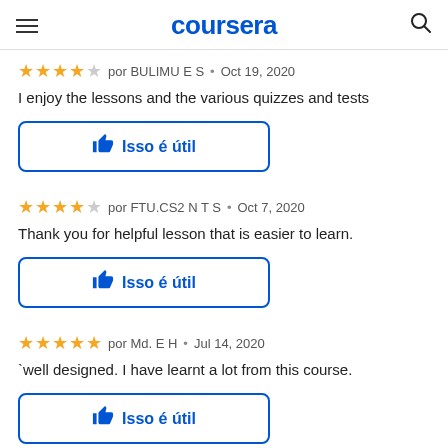coursera
★★★★☆ por BULIMU E S • Oct 19, 2020
I enjoy the lessons and the various quizzes and tests
[Figure (other): Isso é útil button with thumbs up icon]
★★★★☆ por FTU.CS2 N T S • Oct 7, 2020
Thank you for helpful lesson that is easier to learn.
[Figure (other): Isso é útil button with thumbs up icon]
★★★★★ por Md. E H • Jul 14, 2020
`well designed. I have learnt a lot from this course.
[Figure (other): Isso é útil button with thumbs up icon]